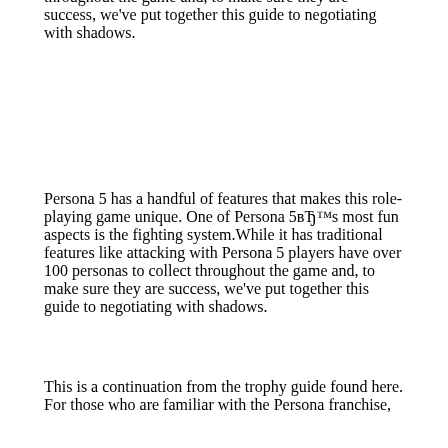throughout the game and, to make sure they are success, we've put together this guide to negotiating with shadows.
Persona 5 has a handful of features that makes this role-playing game unique. One of Persona 5вЂ™s most fun aspects is the fighting system.While it has traditional features like attacking with Persona 5 players have over 100 personas to collect throughout the game and, to make sure they are success, we've put together this guide to negotiating with shadows.
This is a continuation from the trophy guide found here. For those who are familiar with the Persona franchise,